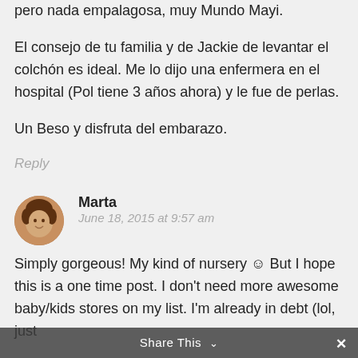pero nada empalagosa, muy Mundo Mayi.
El consejo de tu familia y de Jackie de levantar el colchón es ideal. Me lo dijo una enfermera en el hospital (Pol tiene 3 años ahora) y le fue de perlas.
Un Beso y disfruta del embarazo.
Reply
Marta
June 18, 2015 at 9:57 am
Simply gorgeous! My kind of nursery ☺ But I hope this is a one time post. I don't need more awesome baby/kids stores on my list. I'm already in debt (lol, just
Share This